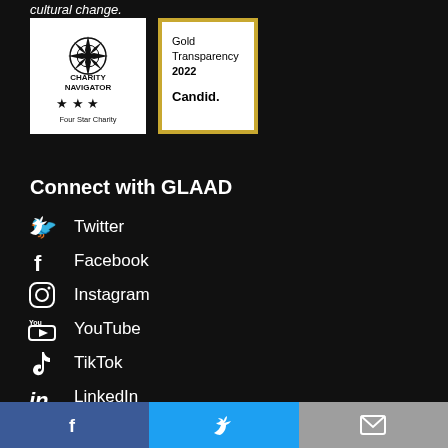cultural change.
[Figure (logo): Charity Navigator Four Star Charity badge - white square with star compass rose logo and three star rating]
[Figure (logo): Candid Gold Transparency 2022 badge - white square with gold border]
Connect with GLAAD
Twitter
Facebook
Instagram
YouTube
TikTok
LinkedIn
Facebook share | Twitter share | Email share